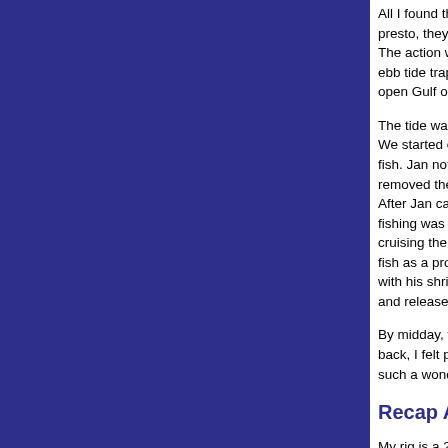All I found that I needed was an outgoing tide, s... presto, they'd appear upward from the water co... The action was particularly on the edge of a larg... ebb tide trapped bait against the structure as it f... open Gulf of Mexico.
The tide was going out nicely and I dropped the... We started out with live shrimp under floats and... fish. Jan noticed that the mackerel were striking... removed the float and fished his shrimp “free” o... After Jan caught three macks in a row, I quickly... fishing was hot and heavy. While I knew there w... cruising the sandbar edge, I thought it unlikely t... fish as a probable target. Nonetheless, I told Ja... with his shrimp- and we were quite fortunate tha... and release a nice pompano of four pounds.
By midday, we were exhausted from the action.... back, I felt pride in being able to offer Jan and c... such a wonderful fishery that surely made smile...
Recap About Myself
My rig is a 22-foot Pathfinder with a tower and t... quiet 150 H.P. Yamaha four-stroke and Power P... fishery is the Tampa- St. Pete estuary where I s... and backcountry fishing. While I am based at O... Pete beach, I do trailer to the daily action as we... pickups of clients.
Contact Da...